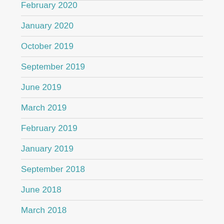February 2020
January 2020
October 2019
September 2019
June 2019
March 2019
February 2019
January 2019
September 2018
June 2018
March 2018